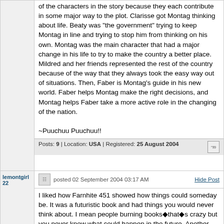of the characters in the story because they each contribute in some major way to the plot. Clarisse got Montag thinking about life. Beaty was "the government" trying to keep Montag in line and trying to stop him from thinking on his own. Montag was the main character that had a major change in his life to try to make the country a better place. Mildred and her friends represented the rest of the country because of the way that they always took the easy way out of situations. Then, Faber is Montag's guide in his new world. Faber helps Montag make the right decisions, and Montag helps Faber take a more active role in the changing of the nation.

~Puuchuu Puuchuu!!
Posts: 9 | Location: USA | Registered: 25 August 2004
lemontgirl22 posted 02 September 2004 03:17 AM Hide Post
I liked how Farnhite 451 showed how things could someday be. It was a futuristic book and had things you would never think about. I mean people burning books◆that◆s crazy but you never know what could happen in the future. Another thing that was crazy in the book was the mechanical dog that had eight legs, I would have never thought of that. My favorite part would be the beginning of the story when